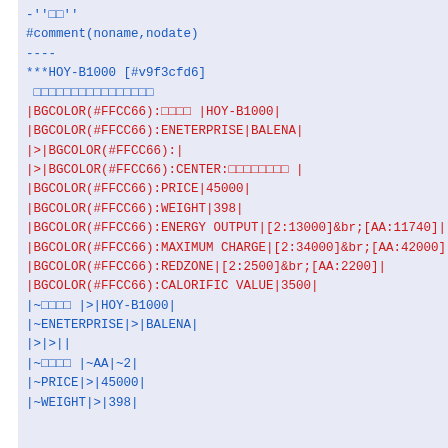-''□□'' #comment(noname,nodate) ---- ***HOY-B1000 [#v9f3cfd6] □□□□□□□□□□□□□□□□ |BGCOLOR(#FFCC66):□□□□ |HOY-B1000| |BGCOLOR(#FFCC66):ENETERPRISE|BALENA| |>|BGCOLOR(#FFCC66):| |>|BGCOLOR(#FFCC66):CENTER:□□□□□□□□ | |BGCOLOR(#FFCC66):PRICE|45000| |BGCOLOR(#FFCC66):WEIGHT|398| |BGCOLOR(#FFCC66):ENERGY OUTPUT|[2:13000]&br;[AA:11740]| |BGCOLOR(#FFCC66):MAXIMUM CHARGE|[2:34000]&br;[AA:42000]| |BGCOLOR(#FFCC66):REDZONE|[2:2500]&br;[AA:2200]| |BGCOLOR(#FFCC66):CALORIFIC VALUE|3500| |~□□□□ |>|HOY-B1000| |~ENETERPRISE|>|BALENA| |>|>|| |~□□□□ |~AA|~2| |~PRICE|>|45000| |~WEIGHT|>|398|